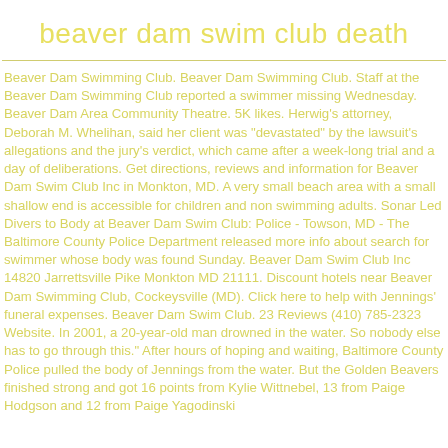beaver dam swim club death
Beaver Dam Swimming Club. Beaver Dam Swimming Club. Staff at the Beaver Dam Swimming Club reported a swimmer missing Wednesday. Beaver Dam Area Community Theatre. 5K likes. Herwig's attorney, Deborah M. Whelihan, said her client was "devastated" by the lawsuit's allegations and the jury's verdict, which came after a week-long trial and a day of deliberations. Get directions, reviews and information for Beaver Dam Swim Club Inc in Monkton, MD. A very small beach area with a small shallow end is accessible for children and non swimming adults. Sonar Led Divers to Body at Beaver Dam Swim Club: Police - Towson, MD - The Baltimore County Police Department released more info about search for swimmer whose body was found Sunday. Beaver Dam Swim Club Inc 14820 Jarrettsville Pike Monkton MD 21111. Discount hotels near Beaver Dam Swimming Club, Cockeysville (MD). Click here to help with Jennings' funeral expenses. Beaver Dam Swim Club. 23 Reviews (410) 785-2323 Website. In 2001, a 20-year-old man drowned in the water. So nobody else has to go through this.". After hours of hoping and waiting, Baltimore County Police pulled the body of Jennings from the water. But the Golden Beavers finished strong and got 16 points from Kylie Wittnebel, 13 from Paige Hodgson and 12 from Paige Yagodinski